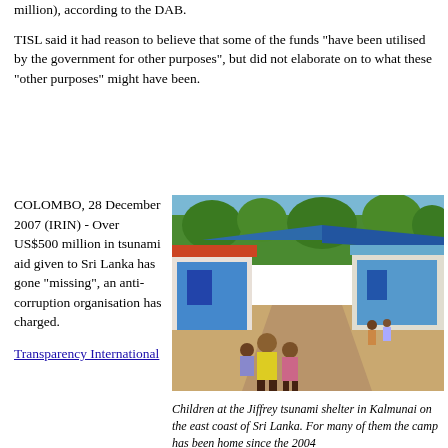million), according to the DAB.
TISL said it had reason to believe that some of the funds “have been utilised by the government for other purposes”, but did not elaborate on to what these “other purposes” might have been.
COLOMBO, 28 December 2007 (IRIN) - Over US$500 million in tsunami aid given to Sri Lanka has gone “missing”, an anti-corruption organisation has charged.
[Figure (photo): Children at the Jiffrey tsunami shelter in Kalmunai on the east coast of Sri Lanka. A dirt path runs between blue-painted corrugated metal shelters. Palm trees visible in background. Children in foreground.]
Children at the Jiffrey tsunami shelter in Kalmunai on the east coast of Sri Lanka. For many of them the camp has been home since the 2004...
Transparency International